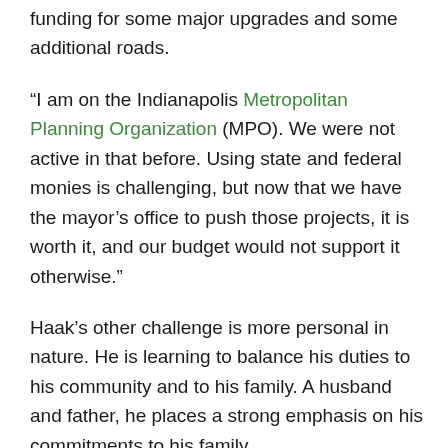funding for some major upgrades and some additional roads.
“I am on the Indianapolis Metropolitan Planning Organization (MPO). We were not active in that before. Using state and federal monies is challenging, but now that we have the mayor’s office to push those projects, it is worth it, and our budget would not support it otherwise.”
Haak’s other challenge is more personal in nature. He is learning to balance his duties to his community and to his family. A husband and father, he places a strong emphasis on his commitments to his family.